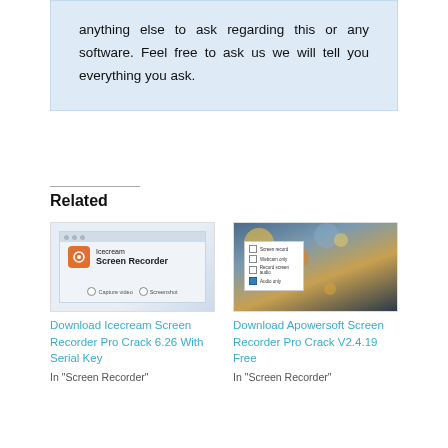anything else to ask regarding this or any software. Feel free to ask us we will tell you everything you ask.
Related
[Figure (screenshot): Screenshot of Icecream Screen Recorder application interface showing logo and capture options]
Download Icecream Screen Recorder Pro Crack 6.26 With Serial Key
In "Screen Recorder"
[Figure (photo): Bokeh photo background with a dialog box overlay, showing Apowersoft Screen Recorder]
Download Apowersoft Screen Recorder Pro Crack V2.4.19 Free
In "Screen Recorder"